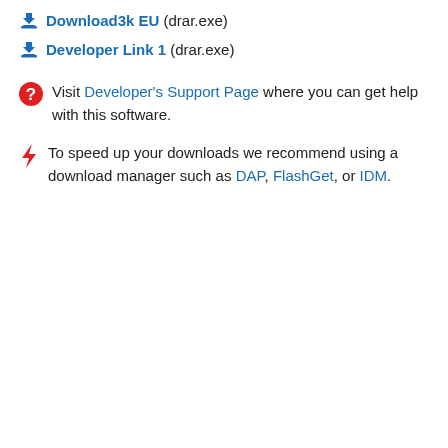Download3k EU (drar.exe)
Developer Link 1 (drar.exe)
Visit Developer's Support Page where you can get help with this software.
To speed up your downloads we recommend using a download manager such as DAP, FlashGet, or IDM.